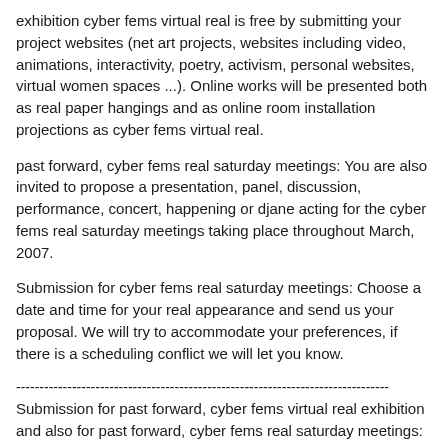exhibition cyber fems virtual real is free by submitting your project websites (net art projects, websites including video, animations, interactivity, poetry, activism, personal websites, virtual women spaces ...). Online works will be presented both as real paper hangings and as online room installation projections as cyber fems virtual real.
past forward, cyber fems real saturday meetings: You are also invited to propose a presentation, panel, discussion, performance, concert, happening or djane acting for the cyber fems real saturday meetings taking place throughout March, 2007.
Submission for cyber fems real saturday meetings: Choose a date and time for your real appearance and send us your proposal. We will try to accommodate your preferences, if there is a scheduling conflict we will let you know.
--------------------------------------------------------------------------------
Submission for past forward, cyber fems virtual real exhibition and also for past forward, cyber fems real saturday meetings: